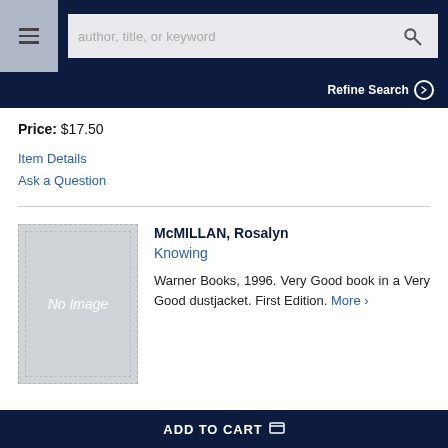author, title, or keyword | search bar | Refine Search
Price: $17.50
Item Details
Ask a Question
McMILLAN, Rosalyn
Knowing
Warner Books, 1996. Very Good book in a Very Good dustjacket. First Edition. More >
ADD TO CART